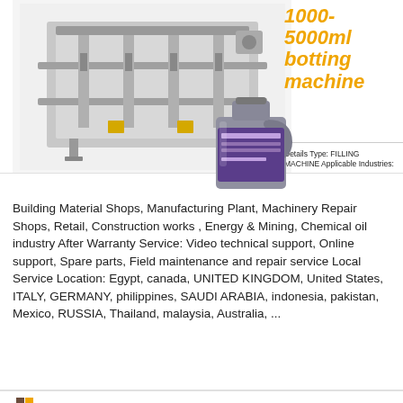[Figure (photo): Industrial filling machine (1000-5000ml bottling machine) with a bottle of motor oil in foreground]
1000-5000ml botting machine
Details Type: FILLING MACHINE Applicable Industries: Building Material Shops, Manufacturing Plant, Machinery Repair Shops, Retail, Construction works , Energy & Mining, Chemical oil industry After Warranty Service: Video technical support, Online support, Spare parts, Field maintenance and repair service Local Service Location: Egypt, canada, UNITED KINGDOM, United States, ITALY, GERMANY, philippines, SAUDI ARABIA, indonesia, pakistan, Mexico, RUSSIA, Thailand, malaysia, Australia, ...
Read More
[Figure (logo): NNPACK logo at bottom]